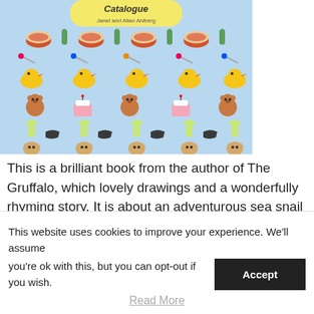[Figure (illustration): Book cover of a children's catalogue by Janet and Allan Ahlberg, featuring rows of illustrated baby/children's items on a light blue background: bowls, socks, ducks, teddy bears, cakes, t-shirts, shoes, cats, and other toys arranged in colourful repeating patterns. Title text 'Catalogue' and 'Janet and Allan Ahlberg' visible at top.]
This is a brilliant book from the author of The Gruffalo, which lovely drawings and a wonderfully rhyming story. It is about an adventurous sea snail who travels around the world on the tail of a
This website uses cookies to improve your experience. We'll assume you're ok with this, but you can opt-out if you wish.
Read More